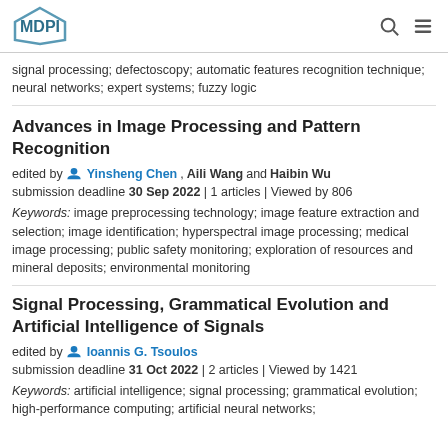MDPI
signal processing; defectoscopy; automatic features recognition technique; neural networks; expert systems; fuzzy logic
Advances in Image Processing and Pattern Recognition
edited by Yinsheng Chen, Aili Wang and Haibin Wu
submission deadline 30 Sep 2022 | 1 articles | Viewed by 806
Keywords: image preprocessing technology; image feature extraction and selection; image identification; hyperspectral image processing; medical image processing; public safety monitoring; exploration of resources and mineral deposits; environmental monitoring
Signal Processing, Grammatical Evolution and Artificial Intelligence of Signals
edited by Ioannis G. Tsoulos
submission deadline 31 Oct 2022 | 2 articles | Viewed by 1421
Keywords: artificial intelligence; signal processing; grammatical evolution; high-performance computing; artificial neural networks;